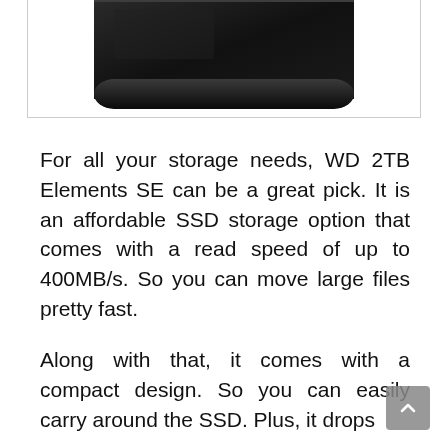[Figure (photo): Bottom portion of a black WD 2TB Elements SE SSD device with rounded rectangular shape against white background, shown with a thin border]
For all your storage needs, WD 2TB Elements SE can be a great pick. It is an affordable SSD storage option that comes with a read speed of up to 400MB/s. So you can move large files pretty fast.
Along with that, it comes with a compact design. So you can easily carry around the SSD. Plus, it drops